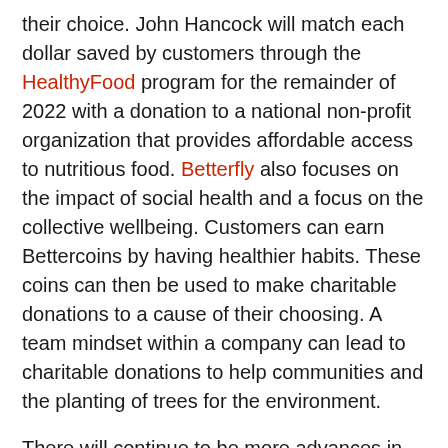their choice. John Hancock will match each dollar saved by customers through the HealthyFood program for the remainder of 2022 with a donation to a national non-profit organization that provides affordable access to nutritious food. Betterfly also focuses on the impact of social health and a focus on the collective wellbeing. Customers can earn Bettercoins by having healthier habits. These coins can then be used to make charitable donations to a cause of their choosing. A team mindset within a company can lead to charitable donations to help communities and the planting of trees for the environment.
There will continue to be more advances in virtual health care and insurers are well placed to refine their offerings that help customers to lead healthier lives. The data provided via AI -driven modelling and analytics will help them personalize their offerings (while remembering to ensure the customer is happy for them to use their data in this way). It is important to remember the four pillars of a person's health, and insurers must consider a customer's